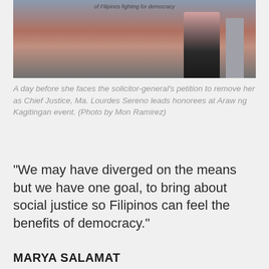[Figure (photo): A woman in a black skirt standing at a podium/lectern at an event. A banner in the background reads 'of Filipinos fighting for democracy'. The setting appears to be a formal ceremony or event hall.]
A day before she faces the solicitor-general's petition to remove her as Chief Justice, Ma. Lourdes Sereno leads honorees at Araw ng Kagitingan event. (Photo by Mon Ramirez)
“We may have diverged on the means but we have one goal, to bring about social justice so Filipinos can feel the benefits of democracy.”
MARYA SALAMAT